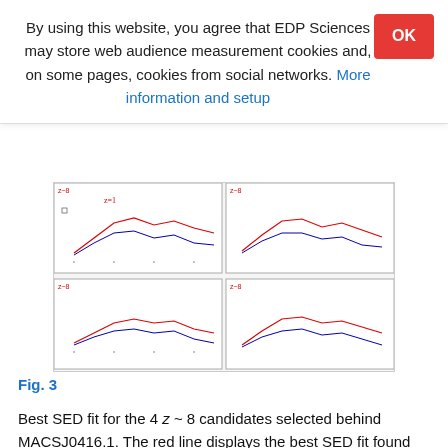By using this website, you agree that EDP Sciences may store web audience measurement cookies and, on some pages, cookies from social networks. More information and setup
[Figure (other): Four-panel figure showing SED fits for z~8 galaxy candidates behind MACSJ0416.1, with curves plotted in panels arranged 2x2]
Fig. 3
Best SED fit for the 4 z ~ 8 candidates selected behind MACSJ0416.1. The red line displays the best SED fit found without any constraint on the redshift interval (0 <z < 12), the black line shows the best fit assuming a low-z solution (0 <z < 3). Upper limits are 2σ non detection. The redshift